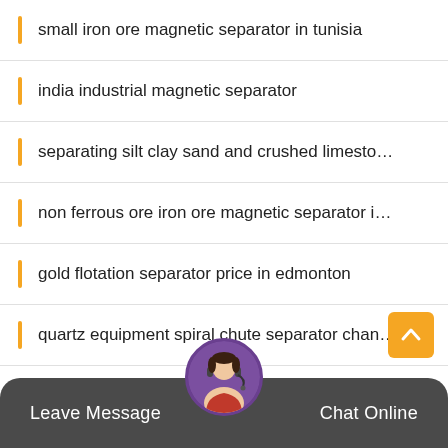small iron ore magnetic separator in tunisia
india industrial magnetic separator
separating silt clay sand and crushed limesto…
non ferrous ore iron ore magnetic separator i…
gold flotation separator price in edmonton
quartz equipment spiral chute separator chan…
magnetic separator for vibrator
Leave Message   Chat Online